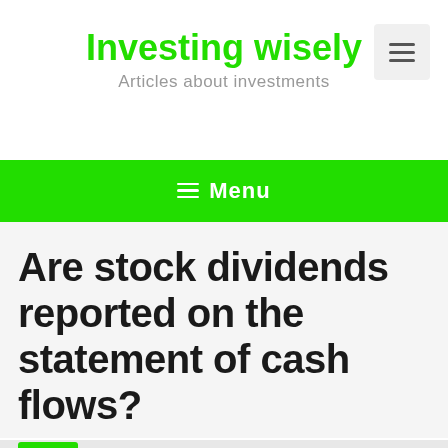Investing wisely
Articles about investments
Are stock dividends reported on the statement of cash flows?